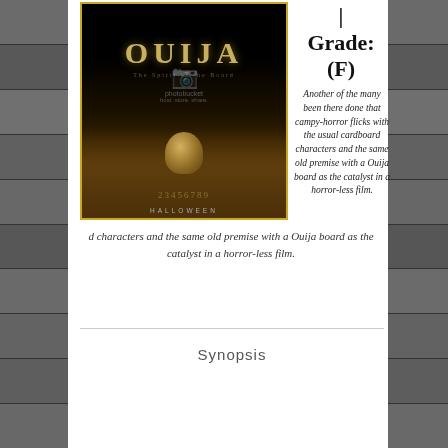[Figure (photo): Left strip of movie poster thumbnails]
[Figure (photo): Ouija movie poster with Halloween text at bottom, dark background with Ouija board and planchette, photobucket watermark overlay]
Grade:
(F)
Another of the many been there done that campy-horror flicks with the usual cardboard characters and the same old premise with a Ouija board as the catalyst in a horror-less film.
Synopsis
[Figure (photo): Right strip of movie poster thumbnails]